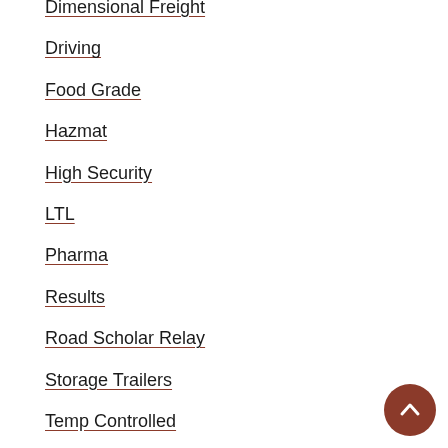Dimensional Freight
Driving
Food Grade
Hazmat
High Security
LTL
Pharma
Results
Road Scholar Relay
Storage Trailers
Temp Controlled
Truckload